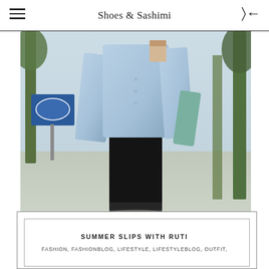Shoes & Sashimi
[Figure (photo): Fashion photo of a person wearing a light blue denim jacket over a black slip dress, holding a coffee cup, standing on a sidewalk with trees and a blue sign in the background.]
SUMMER SLIPS WITH RUTI
FASHION, FASHIONBLOG, LIFESTYLE, LIFESTYLEBLOG, OUTFIT,